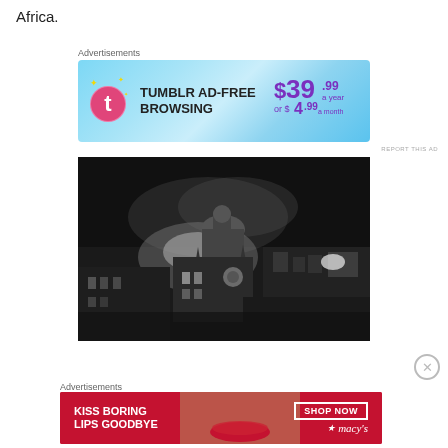Africa.
Advertisements
[Figure (screenshot): Tumblr Ad-Free Browsing advertisement banner: $39.99 a year or $4.99 a month, with Tumblr 't' logo on a blue gradient background.]
REPORT THIS AD
[Figure (photo): Black and white nighttime aerial photograph of a burning building (appears to be a church or synagogue) with a dome and clock tower, surrounded by city buildings with smoke and fire light visible.]
Advertisements
[Figure (screenshot): Macy's advertisement: 'KISS BORING LIPS GOODBYE' with a woman's face showing red lips, and a 'SHOP NOW' button with the Macy's star logo on a red background.]